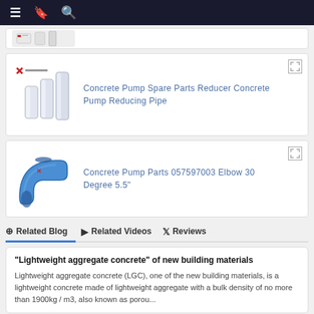≡  [bookmark icon]  🔍
[Figure (photo): Partial product image visible at top (clipped), showing white pipe fittings]
[Figure (photo): Concrete Pump Spare Parts Reducer Concrete Pump Reducing Pipe — three white cylindrical pipes of varying sizes]
Concrete Pump Spare Parts Reducer Concrete Pump Reducing Pipe
[Figure (photo): Concrete Pump Parts 057597003 Elbow 30 Degree 5.5" — blue elbow pipe fitting]
Concrete Pump Parts 057597003 Elbow 30 Degree 5.5"
⊕ Related Blog  ▶ Related Videos  𝕏 Reviews
"Lightweight aggregate concrete" of new building materials
Lightweight aggregate concrete (LGC), one of the new building materials, is a lightweight concrete made of lightweight aggregate with a bulk density of no more than 1900kg / m3, also known as porou...
Celebrating China traditional festival Mid Autumn Festival...